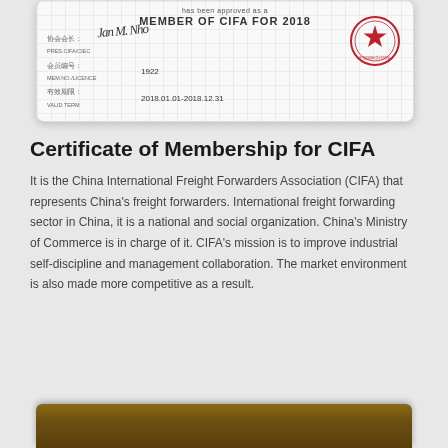[Figure (photo): Certificate of Membership card showing 'has been approved as a MEMBER OF CIFA FOR 2018' with Chinese text fields for association president signature, member number 1922, and validity term 2018.01.01-2018.12.31, along with a red official star stamp.]
Certificate of Membership for CIFA
It is the China International Freight Forwarders Association (CIFA) that represents China's freight forwarders. International freight forwarding sector in China, it is a national and social organization. China's Ministry of Commerce is in charge of it. CIFA's mission is to improve industrial self-discipline and management collaboration. The market environment is also made more competitive as a result.
[Figure (photo): Partial view of a wooden-framed award plaque at the bottom of the page.]